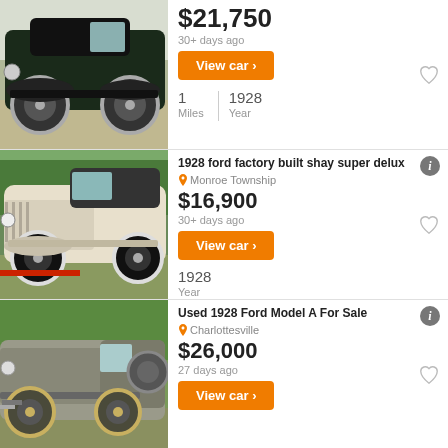[Figure (photo): Black vintage 1928 Ford car viewed from front-left angle on sunny day]
$21,750
30+ days ago
View car
1 Miles | 1928 Year
[Figure (photo): White/cream vintage 1928 Ford roadster car, front-right angle, outdoors]
1928 ford factory built shay super delux
Monroe Township
$16,900
30+ days ago
View car
1928 Year
[Figure (photo): Gray vintage 1928 Ford Model A car, side/rear angle, outdoors with trees]
Used 1928 Ford Model A For Sale
Charlottesville
$26,000
27 days ago
View car